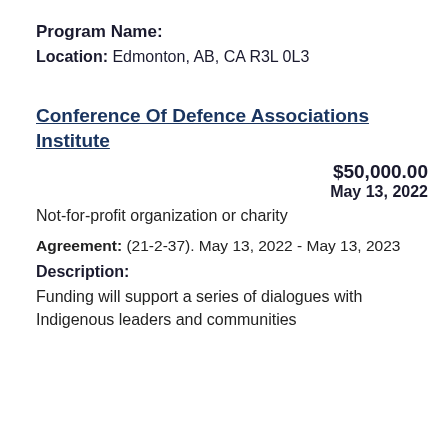Program Name:
Location: Edmonton, AB, CA R3L 0L3
Conference Of Defence Associations Institute
$50,000.00
May 13, 2022
Not-for-profit organization or charity
Agreement: (21-2-37). May 13, 2022 - May 13, 2023
Description:
Funding will support a series of dialogues with Indigenous leaders and communities